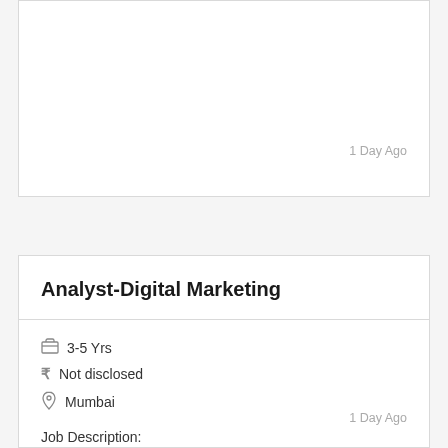1 Day Ago
Analyst-Digital Marketing
3-5 Yrs
Not disclosed
Mumbai
Job Description:
Skill required: Digital Marketing - Campaign Management Designation:....
1 Day Ago